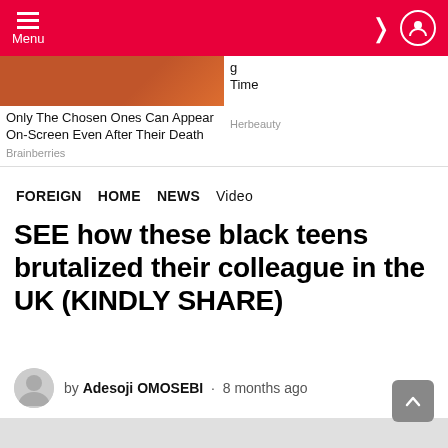Menu
[Figure (screenshot): Two advertisement banners. Left: 'Only The Chosen Ones Can Appear On-Screen Even After Their Death' from Brainberries. Right: partial text ending with 'Time' from Herbeauty.]
FOREIGN  HOME  NEWS  Video
SEE how these black teens brutalized their colleague in the UK (KINDLY SHARE)
by Adesoji OMOSEBI · 8 months ago
[Figure (photo): Featured article image placeholder (grey rectangle).]